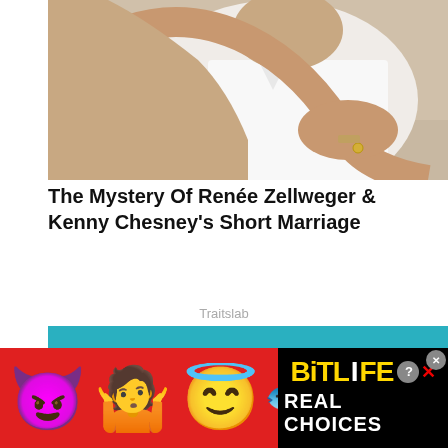[Figure (photo): A couple embracing — a man in a white shirt hugging a woman from behind, outdoors setting]
The Mystery Of Renée Zellweger & Kenny Chesney's Short Marriage
Traitslab
[Figure (photo): A woman in a purple bra/swimsuit top against a teal background, with white line drawings on the garment, hands placed on her chest with purple nail polish]
[Figure (advertisement): BitLife app advertisement banner with red background, devil emoji, woman shrugging emoji, angel emoji, sperm emoji, BitLife logo in gold, and 'REAL CHOICES' text in white on black]